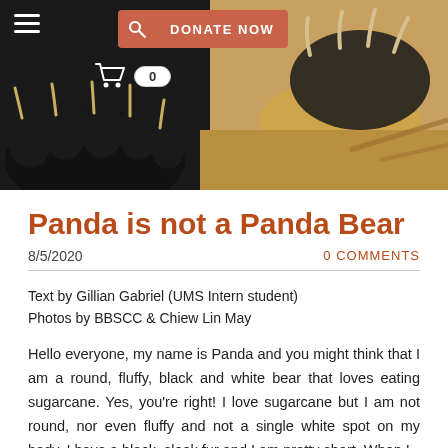[Figure (photo): Close-up photo of bear paws/claws — dark fur on left side, sandy/earthy background on right side with claws visible]
Panda is not a Panda Bear
8/5/2020   0 COMMENTS
Text by Gillian Gabriel (UMS Intern student)
Photos by BBSCC & Chiew Lin May
Hello everyone, my name is Panda and you might think that I am a round, fluffy, black and white bear that loves eating sugarcane. Yes, you're right! I love sugarcane but I am not round, nor even fluffy and not a single white spot on my body. I have a black, sleek fur and I am pretty short. When I